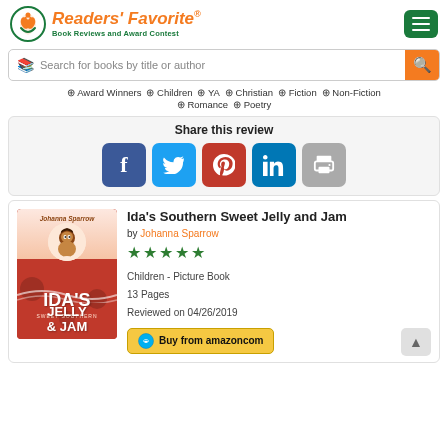Readers' Favorite - Book Reviews and Award Contest
Search for books by title or author
⊕ Award Winners ⊕ Children ⊕ YA ⊕ Christian ⊕ Fiction ⊕ Non-Fiction ⊕ Romance ⊕ Poetry
Share this review
[Figure (other): Social share buttons: Facebook, Twitter, Pinterest, LinkedIn, Print]
[Figure (illustration): Book cover for Ida's Sweet Southern Jelly & Jam by Johanna Sparrow]
Ida's Southern Sweet Jelly and Jam
by Johanna Sparrow
★★★★★ (5 stars)
Children - Picture Book
13 Pages
Reviewed on 04/26/2019
Buy from amazon.com